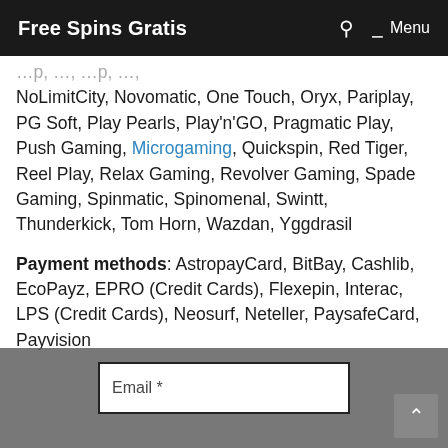Free Spins Gratis    🔍    ≡ Menu
NoLimitCity, Novomatic, One Touch, Oryx, Pariplay, PG Soft, Play Pearls, Play'n'GO, Pragmatic Play, Push Gaming, Microgaming, Quickspin, Red Tiger, Reel Play, Relax Gaming, Revolver Gaming, Spade Gaming, Spinmatic, Spinomenal, Swintt, Thunderkick, Tom Horn, Wazdan, Yggdrasil
Payment methods: AstropayCard, BitBay, Cashlib, EcoPayz, EPRO (Credit Cards), Flexepin, Interac, LPS (Credit Cards), Neosurf, Neteller, PaysafeCard, Payvision
Email *